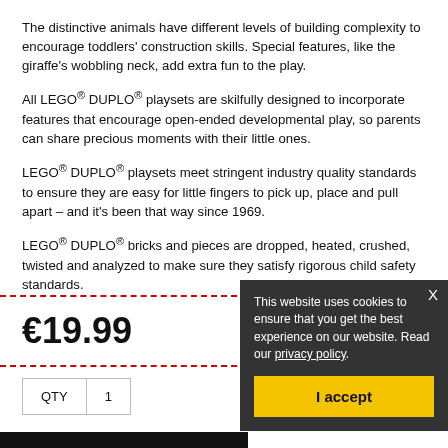The distinctive animals have different levels of building complexity to encourage toddlers' construction skills. Special features, like the giraffe's wobbling neck, add extra fun to the play.
All LEGO® DUPLO® playsets are skilfully designed to incorporate features that encourage open-ended developmental play, so parents can share precious moments with their little ones.
LEGO® DUPLO® playsets meet stringent industry quality standards to ensure they are easy for little fingers to pick up, place and pull apart – and it's been that way since 1969.
LEGO® DUPLO® bricks and pieces are dropped, heated, crushed, twisted and analyzed to make sure they satisfy rigorous child safety standards.
€19.99
QTY  1
This website uses cookies to ensure that you get the best experience on our website. Read our privacy policy.
I accept